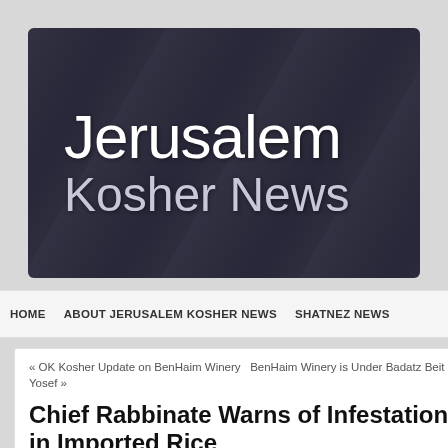[Figure (logo): Jerusalem Kosher News banner logo with dark navy/slate background and white text reading 'Jerusalem Kosher News']
HOME   ABOUT JERUSALEM KOSHER NEWS   SHATNEZ NEWS
« OK Kosher Update on BenHaim Winery  BenHaim Winery is Under Badatz Beit Yosef »
Chief Rabbinate Warns of Infestation in Imported Rice